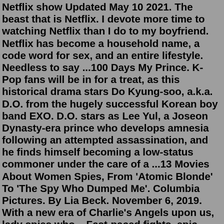Netflix show Updated May 10 2021. The beast that is Netflix. I devote more time to watching Netflix than I do to my boyfriend. Netflix has become a household name, a code word for sex, and an entire lifestyle. Needless to say ...100 Days My Prince. K-Pop fans will be in for a treat, as this historical drama stars Do Kyung-soo, a.k.a. D.O. from the hugely successful Korean boy band EXO. D.O. stars as Lee Yul, a Joseon Dynasty-era prince who develops amnesia following an attempted assassination, and he finds himself becoming a low-status commoner under the care of a ...13 Movies About Women Spies, From 'Atomic Blonde' To 'The Spy Who Dumped Me'. Columbia Pictures. By Lia Beck. November 6, 2019. With a new era of Charlie's Angels upon us, lady spies who ...Fast-paced fights, epic adventures, hard-hitting martial arts - these Asian action movies pack quite the punch when you want to kick your viewing into high gear. Popular on Netflix Explore more. Carter; Ip Man 4: The Finale; ... Netflix has an extensive library of feature films, documentaries, TV shows, anime,